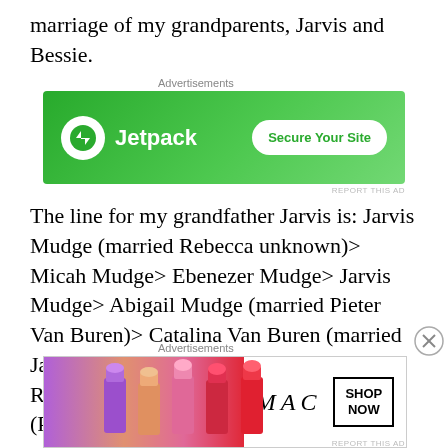marriage of my grandparents, Jarvis and Bessie.
[Figure (screenshot): Jetpack advertisement banner - green background with Jetpack logo and 'Secure Your Site' button]
The line for my grandfather Jarvis is: Jarvis Mudge (married Rebecca unknown)> Micah Mudge> Ebenezer Mudge> Jarvis Mudge> Abigail Mudge (married Pieter Van Buren)> Catalina Van Buren (married James Putnam) > Jarvis Mudge Putman> Richard T. Putman> Jarvis Mudge Putman (Putnam).
The line for my grandmother Bessie is: Edward Griswold> Joseph Griswold> Francis Griswold> Francis Griswold>
[Figure (screenshot): MAC cosmetics advertisement with lipsticks image and 'SHOP NOW' button]